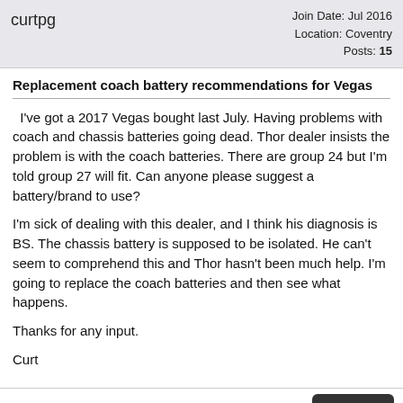curtpg | Join Date: Jul 2016 | Location: Coventry | Posts: 15
Replacement coach battery recommendations for Vegas
I've got a 2017 Vegas bought last July. Having problems with coach and chassis batteries going dead. Thor dealer insists the problem is with the coach batteries. There are group 24 but I'm told group 27 will fit. Can anyone please suggest a battery/brand to use?
I'm sick of dealing with this dealer, and I think his diagnosis is BS. The chassis battery is supposed to be isolated. He can't seem to comprehend this and Thor hasn't been much help. I'm going to replace the coach batteries and then see what happens.
Thanks for any input.
Curt